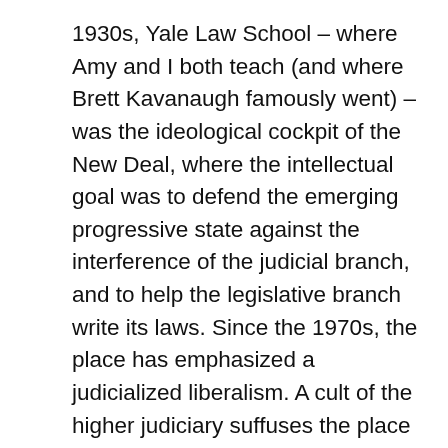1930s, Yale Law School – where Amy and I both teach (and where Brett Kavanaugh famously went) – was the ideological cockpit of the New Deal, where the intellectual goal was to defend the emerging progressive state against the interference of the judicial branch, and to help the legislative branch write its laws. Since the 1970s, the place has emphasized a judicialized liberalism. A cult of the higher judiciary suffuses the place — and many other law schools — in consequence. It is not by accident that students from the first day are taught to think of themselves as judges on the make, with clerkships the first rung in their climb, and to dream of achieving progressive consequences from above. If we taught less deference to courts – and how in high stakes politics the challenge is to convince our fellow citizens first and foremost – law schools would begin to look very different.